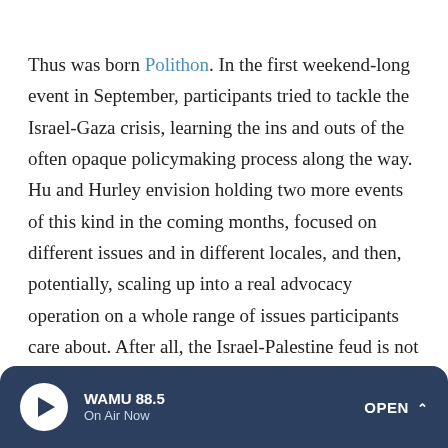Thus was born Polithon. In the first weekend-long event in September, participants tried to tackle the Israel-Gaza crisis, learning the ins and outs of the often opaque policymaking process along the way. Hu and Hurley envision holding two more events of this kind in the coming months, focused on different issues and in different locales, and then, potentially, scaling up into a real advocacy operation on a whole range of issues participants care about. After all, the Israel-Palestine feud is not everyone's cup of tea. And "we're not saying all millennials should care about all the issues," says Hu. It's more about zeroing in on issues that matter to you and
WAMU 88.5 | On Air Now | OPEN